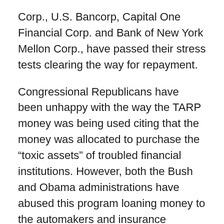Corp., U.S. Bancorp, Capital One Financial Corp. and Bank of New York Mellon Corp., have passed their stress tests clearing the way for repayment.
Congressional Republicans have been unhappy with the way the TARP money was being used citing that the money was allocated to purchase the “toxic assets” of troubled financial institutions. However, both the Bush and Obama administrations have abused this program loaning money to the automakers and insurance companies as well as banks fueling “taxpayer ownership” of private businesses. In light of this, Republican lawmakers would like to return the unused and repaid money back to the Treasury and terminate the program.
“It’s time to terminate the TARP program,” Rep. Jeb Hensarling, R-Texas, told reporters. “TARP is increasingly